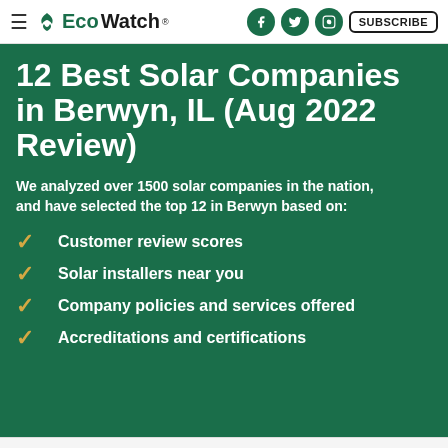EcoWatch — SUBSCRIBE
12 Best Solar Companies in Berwyn, IL (Aug 2022 Review)
We analyzed over 1500 solar companies in the nation, and have selected the top 12 in Berwyn based on:
Customer review scores
Solar installers near you
Company policies and services offered
Accreditations and certifications